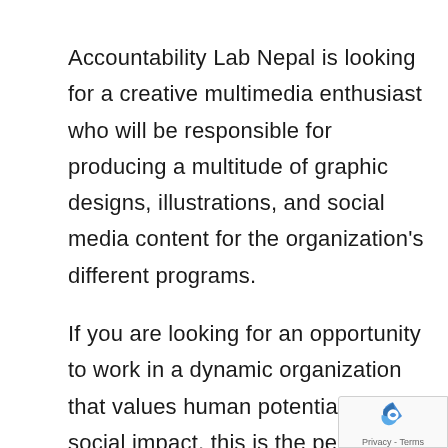Accountability Lab Nepal is looking for a creative multimedia enthusiast who will be responsible for producing a multitude of graphic designs, illustrations, and social media content for the organization's different programs.
If you are looking for an opportunity to work in a dynamic organization that values human potential and social impact, this is the perfect place for you. You must be a self-starter, capable of providing fantastic creative ideas, and be open to learning new approaches to successful in this role. We're searching for
[Figure (other): reCAPTCHA badge with Privacy - Terms text]